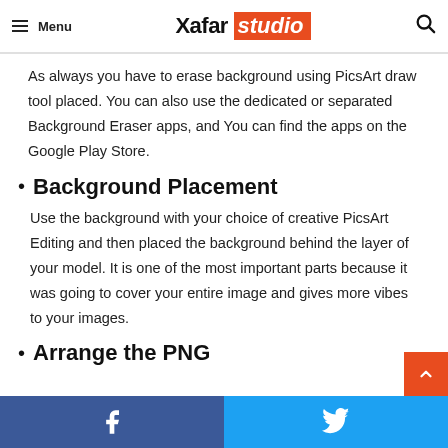Menu | Xafar studio
As always you have to erase background using PicsArt draw tool placed. You can also use the dedicated or separated Background Eraser apps, and You can find the apps on the Google Play Store.
Background Placement
Use the background with your choice of creative PicsArt Editing and then placed the background behind the layer of your model. It is one of the most important parts because it was going to cover your entire image and gives more vibes to your images.
Arrange the PNG